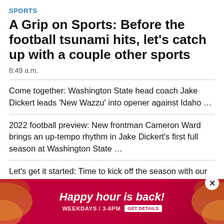SPORTS
A Grip on Sports: Before the football tsunami hits, let's catch up with a couple other sports
8:49 a.m.
Come together: Washington State head coach Jake Dickert leads 'New Wazzu' into opener against Idaho …
2022 football preview: New frontman Cameron Ward brings an up-tempo rhythm in Jake Dickert's first full season at Washington State …
Let's get it started: Time to kick off the season with our annual look at teams from around the region …
A legacy … at Washington … nt QB play is t…
[Figure (infographic): Red advertisement banner: 'Happy hour is back! WEEKDAYS / 3-6PM GET DETAILS' with decorative orange and yellow curved shapes on left and right sides]